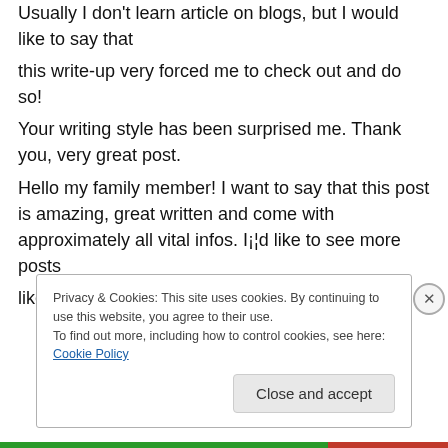Usually I don't learn article on blogs, but I would like to say that this write-up very forced me to check out and do so! Your writing style has been surprised me. Thank you, very great post. Hello my family member! I want to say that this post is amazing, great written and come with approximately all vital infos. I¡¦d like to see more posts like this .
Privacy & Cookies: This site uses cookies. By continuing to use this website, you agree to their use. To find out more, including how to control cookies, see here: Cookie Policy